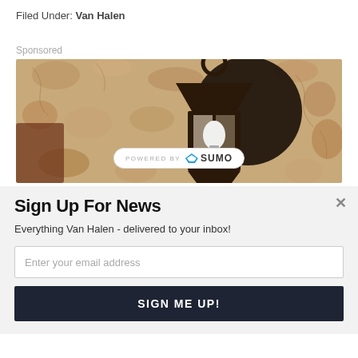Filed Under: Van Halen
Sponsored
[Figure (photo): Outdoor lantern wall sconce mounted on a stucco wall, sepia/warm toned photo. Overlaid with a 'Powered by SUMO' badge.]
Sign Up For News
Everything Van Halen - delivered to your inbox!
Enter your email address
SIGN ME UP!